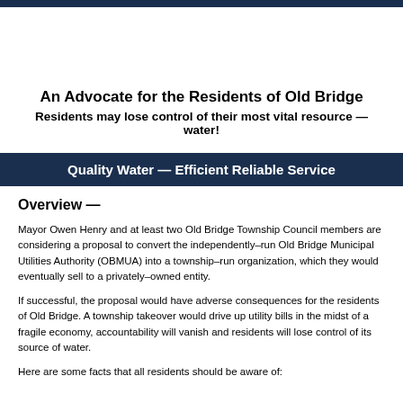An Advocate for the Residents of Old Bridge
Residents may lose control of their most vital resource — water!
Quality Water — Efficient Reliable Service
Overview —
Mayor Owen Henry and at least two Old Bridge Township Council members are considering a proposal to convert the independently–run Old Bridge Municipal Utilities Authority (OBMUA) into a township–run organization, which they would eventually sell to a privately–owned entity.
If successful, the proposal would have adverse consequences for the residents of Old Bridge. A township takeover would drive up utility bills in the midst of a fragile economy, accountability will vanish and residents will lose control of its source of water.
Here are some facts that all residents should be aware of: